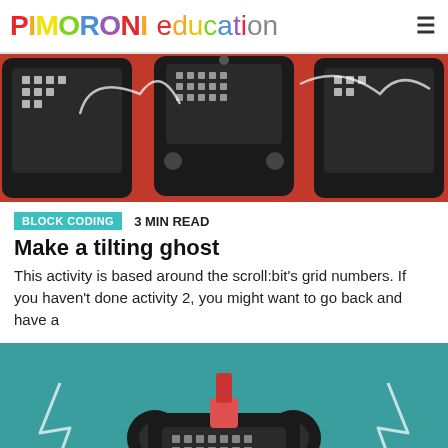PIMORONI education
[Figure (photo): Photo of micro:bit boards with LED displays on a red background with white ghost outlines]
BLOCK CODING   3 MIN READ
Make a tilting ghost
This activity is based around the scroll:bit's grid numbers. If you haven't done activity 2, you might want to go back and have a
[Figure (photo): Photo of a micro:bit in a bear-shaped case on a teal background with lightning bolt outlines]
BLOCK CODING   2 MIN READ